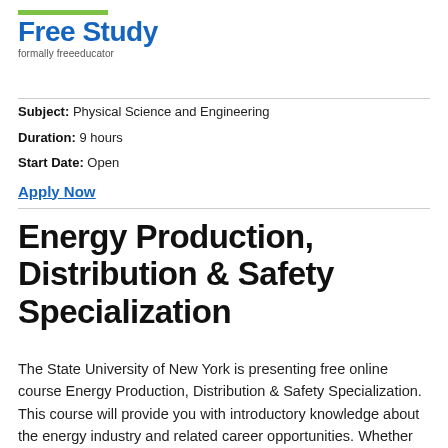[Figure (logo): Free Study logo with green bar above and subtitle 'formally freeeducator']
Subject: Physical Science and Engineering
Duration: 9 hours
Start Date: Open
Apply Now
Energy Production, Distribution & Safety Specialization
The State University of New York is presenting free online course Energy Production, Distribution & Safety Specialization. This course will provide you with introductory knowledge about the energy industry and related career opportunities. Whether you are interested in utilities, by joining a utility or by and